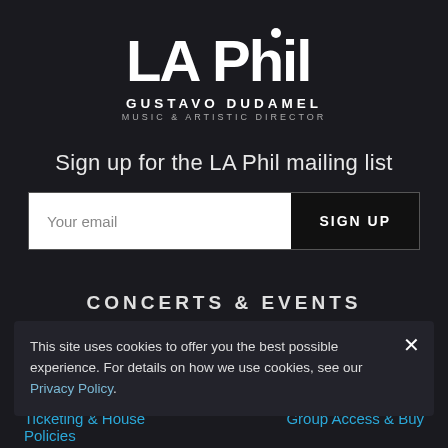[Figure (logo): LA Phil logo with text 'LA Phil' in large stylized white font, 'GUSTAVO DUDAMEL' in bold spaced capitals, 'MUSIC & ARTISTIC DIRECTOR' in smaller spaced text]
Sign up for the LA Phil mailing list
Your email
SIGN UP
CONCERTS & EVENTS
Calendar
Vaccination & Mask Policy
This site uses cookies to offer you the best possible experience. For details on how we use cookies, see our Privacy Policy.